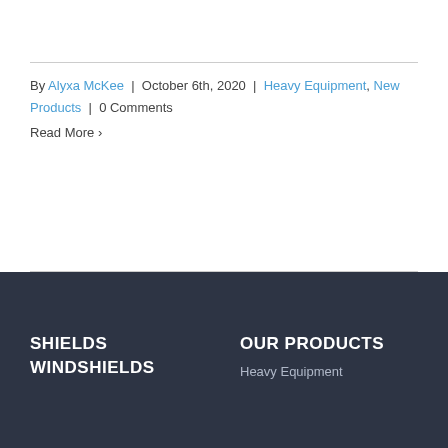By Alyxa McKee | October 6th, 2020 | Heavy Equipment, New Products | 0 Comments
Read More ›
SHIELDS WINDSHIELDS
OUR PRODUCTS
Heavy Equipment